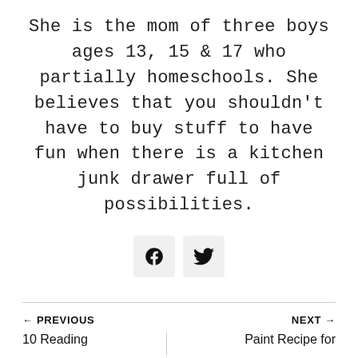She is the mom of three boys ages 13, 15 & 17 who partially homeschools. She believes that you shouldn't have to buy stuff to have fun when there is a kitchen junk drawer full of possibilities.
[Figure (other): Two social media icon buttons: Facebook and Twitter, displayed as square icon boxes with light gray background]
← PREVIOUS
NEXT →
10 Reading
Paint Recipe for